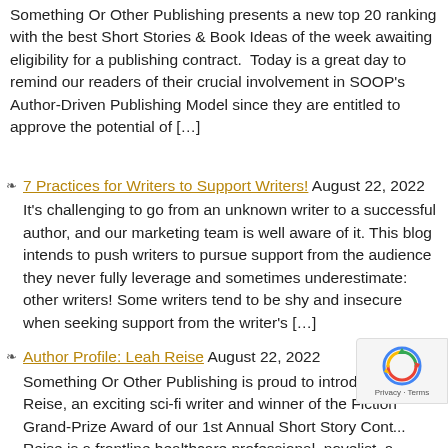Something Or Other Publishing presents a new top 20 ranking with the best Short Stories & Book Ideas of the week awaiting eligibility for a publishing contract.  Today is a great day to remind our readers of their crucial involvement in SOOP's Author-Driven Publishing Model since they are entitled to approve the potential of […]
7 Practices for Writers to Support Writers! August 22, 2022 It's challenging to go from an unknown writer to a successful author, and our marketing team is well aware of it. This blog intends to push writers to pursue support from the audience they never fully leverage and sometimes underestimate: other writers! Some writers tend to be shy and insecure when seeking support from the writer's […]
Author Profile: Leah Reise August 22, 2022 Something Or Other Publishing is proud to introduce Leah Reise, an exciting sci-fi writer and winner of the Fiction Grand-Prize Award of our 1st Annual Short Story Cont... Reise is a frontline healthcare professional, novelist, a writer. As a young girl, she found liberation in expressi... herself through writing. It took her to a place […]